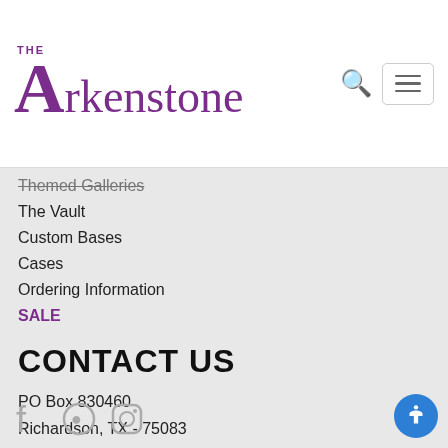[Figure (logo): The Arkenstone logo in purple with large stylized A]
Themed Galleries
The Vault
Custom Bases
Cases
Ordering Information
SALE
CONTACT US
PO Box 830460
Richardson, TX - 75083
(972) 437-2492
info@iRocks.com